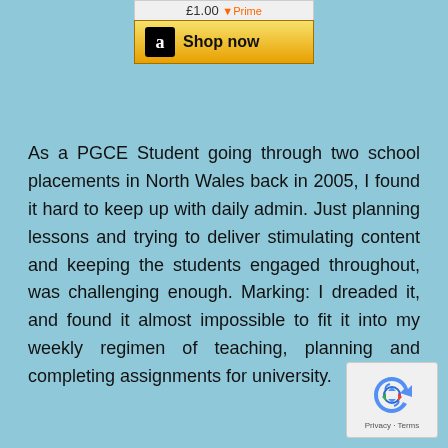[Figure (screenshot): Amazon 'Shop now' widget button with price bar showing £??.?? and an orange arrow, with Amazon logo and golden 'Shop now' button]
As a PGCE Student going through two school placements in North Wales back in 2005, I found it hard to keep up with daily admin. Just planning lessons and trying to deliver stimulating content and keeping the students engaged throughout, was challenging enough. Marking: I dreaded it, and found it almost impossible to fit it into my weekly regimen of teaching, planning and completing assignments for university.
[Figure (logo): reCAPTCHA badge with Privacy and Terms links]